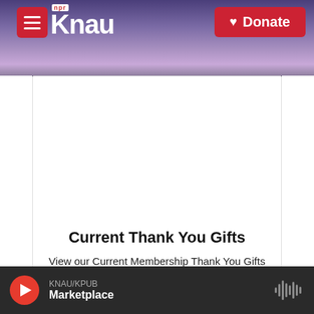KNAU NPR | Donate
[Figure (photo): Close-up photo of dried corn cobs, husks, and plant debris on the ground, with purple mountain background visible in the website header]
Current Thank You Gifts
View our Current Membership Thank You Gifts
[Figure (logo): PUBLIC RADIO circular logo, partially visible at bottom of page]
KNAU/KPUB Marketplace